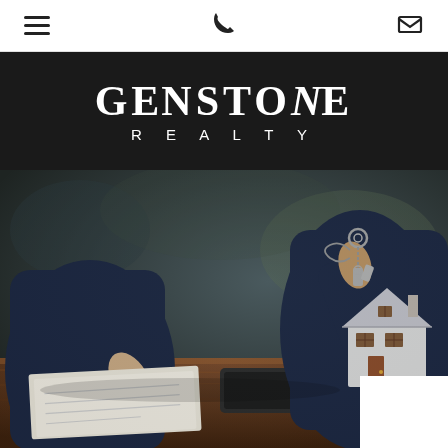Navigation bar with hamburger menu, phone icon, and email icon
[Figure (logo): Genstone Realty logo — white text on black background. Large serif 'GENSTONE' with stylized letters, smaller spaced sans-serif 'REALTY' below.]
[Figure (photo): Real estate scene: two people at a table, one writing/signing documents, the other holding up house keys. A small model house sits on the right side of the table. Dark, moody, blurred background with warm wooden table surface.]